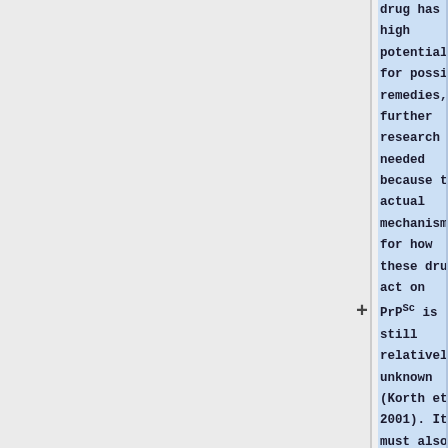drug has a high potential for possible remedies, further research is needed because the actual mechanism for how these drugs act on PrP^Sc is still relatively unknown (Korth et al 2001). It must also be